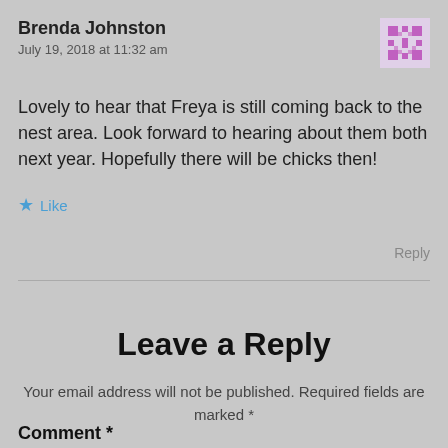Brenda Johnston
July 19, 2018 at 11:32 am
Lovely to hear that Freya is still coming back to the nest area. Look forward to hearing about them both next year. Hopefully there will be chicks then!
Like
Reply
Leave a Reply
Your email address will not be published. Required fields are marked *
Comment *